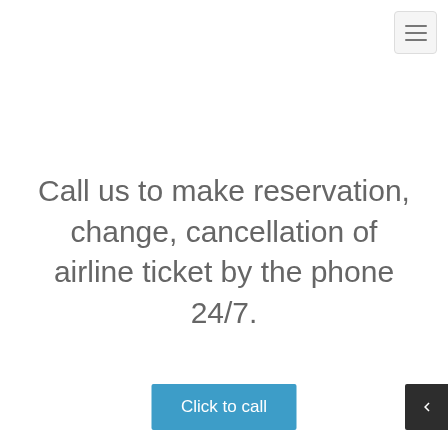[Figure (screenshot): Hamburger menu button in top-right corner, light gray background with three horizontal lines icon]
Call us to make reservation, change, cancellation of airline ticket by the phone 24/7.
[Figure (other): Blue 'Click to call' button centered near bottom]
[Figure (other): Dark back/navigation button at bottom right]